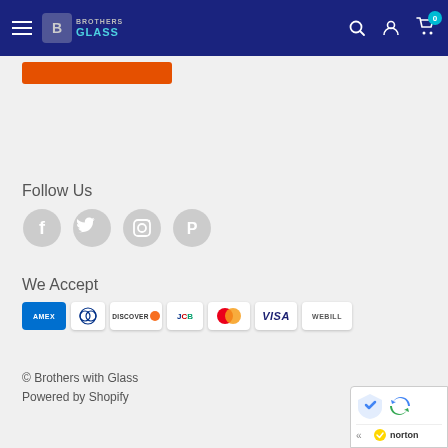Brothers with Glass - navigation header
[Figure (screenshot): Orange button placeholder at top of page]
Follow Us
[Figure (infographic): Social media icons: Facebook, Twitter, Instagram, Pinterest - grey circular icons]
We Accept
[Figure (infographic): Payment method logos: AMEX, Diners Club, Discover, JCB, Mastercard, Visa, WeBill]
© Brothers with Glass
Powered by Shopify
[Figure (other): reCAPTCHA and Norton security badge in bottom right corner]